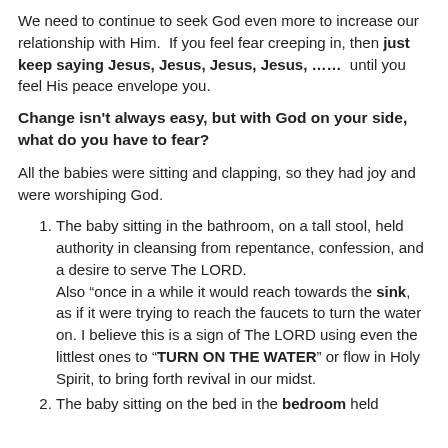We need to continue to seek God even more to increase our relationship with Him. If you feel fear creeping in, then just keep saying Jesus, Jesus, Jesus, Jesus, …… until you feel His peace envelope you.
Change isn't always easy, but with God on your side, what do you have to fear?
All the babies were sitting and clapping, so they had joy and were worshiping God.
The baby sitting in the bathroom, on a tall stool, held authority in cleansing from repentance, confession, and a desire to serve The LORD. Also “once in a while it would reach towards the sink, as if it were trying to reach the faucets to turn the water on. I believe this is a sign of The LORD using even the littlest ones to “TURN ON THE WATER” or flow in Holy Spirit, to bring forth revival in our midst.
The baby sitting on the bed in the bedroom held...